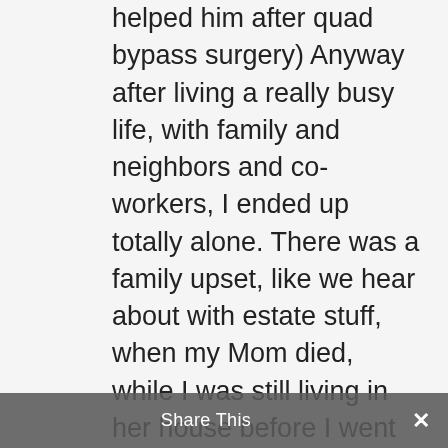helped him after quad bypass surgery) Anyway after living a really busy life, with family and neighbors and co-workers, I ended up totally alone. There was a family upset, like we hear about with estate stuff, when my Mom died, while I was still living in her house before I went to my son's place. I was really stressed, and wasn't great company for anyone so I lost connection with buddies at work and in the apartment I lived in for 23 years because I couldn't be myself and figured I would get in touch with them later on. It turned out to be so long that I just kept away. Just entering 'a version' of the
Share This ✕